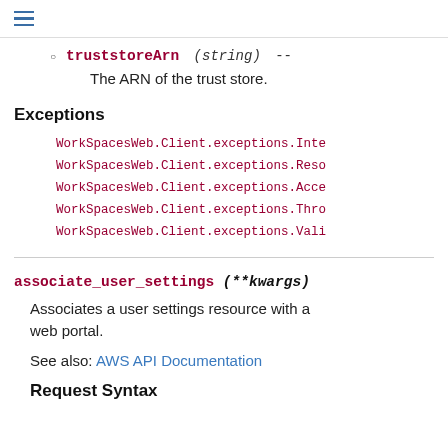truststoreArn (string) --
The ARN of the trust store.
Exceptions
WorkSpacesWeb.Client.exceptions.Inte
WorkSpacesWeb.Client.exceptions.Reso
WorkSpacesWeb.Client.exceptions.Acce
WorkSpacesWeb.Client.exceptions.Thro
WorkSpacesWeb.Client.exceptions.Vali
associate_user_settings (**kwargs)
Associates a user settings resource with a web portal.
See also: AWS API Documentation
Request Syntax